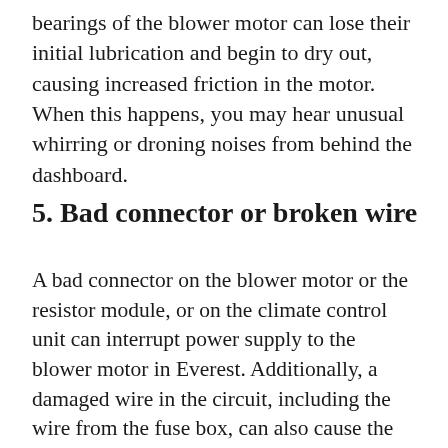bearings of the blower motor can lose their initial lubrication and begin to dry out, causing increased friction in the motor. When this happens, you may hear unusual whirring or droning noises from behind the dashboard.
5. Bad connector or broken wire
A bad connector on the blower motor or the resistor module, or on the climate control unit can interrupt power supply to the blower motor in Everest. Additionally, a damaged wire in the circuit, including the wire from the fuse box, can also cause the blower motor to stop working.